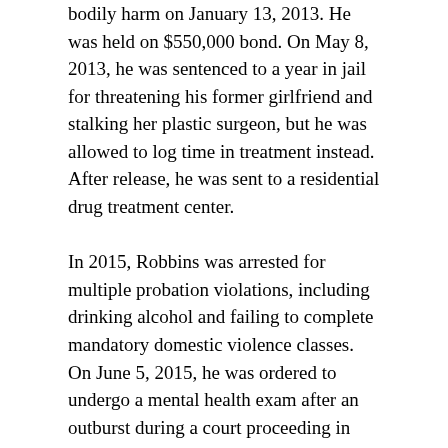bodily harm on January 13, 2013. He was held on $550,000 bond. On May 8, 2013, he was sentenced to a year in jail for threatening his former girlfriend and stalking her plastic surgeon, but he was allowed to log time in treatment instead. After release, he was sent to a residential drug treatment center.
In 2015, Robbins was arrested for multiple probation violations, including drinking alcohol and failing to complete mandatory domestic violence classes. On June 5, 2015, he was ordered to undergo a mental health exam after an outburst during a court proceeding in San Diego.
On December 7, 2015, Robbins was sentenced to four years and eight months in prison as part of a plea agreement for sending threatening letters to a manager and his wife of the mobile home park in which he lived in Oceanside, California. Robbins has stated at previous